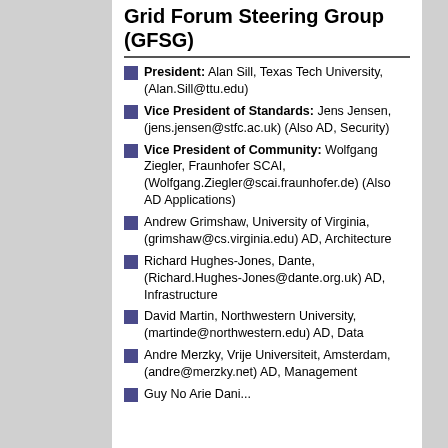Grid Forum Steering Group (GFSG)
President: Alan Sill, Texas Tech University, (Alan.Sill@ttu.edu)
Vice President of Standards: Jens Jensen, (jens.jensen@stfc.ac.uk) (Also AD, Security)
Vice President of Community: Wolfgang Ziegler, Fraunhofer SCAI, (Wolfgang.Ziegler@scai.fraunhofer.de) (Also AD Applications)
Andrew Grimshaw, University of Virginia, (grimshaw@cs.virginia.edu) AD, Architecture
Richard Hughes-Jones, Dante, (Richard.Hughes-Jones@dante.org.uk) AD, Infrastructure
David Martin, Northwestern University, (martinde@northwestern.edu) AD, Data
Andre Merzky, Vrije Universiteit, Amsterdam, (andre@merzky.net) AD, Management
Guy Noa Arie Dani...